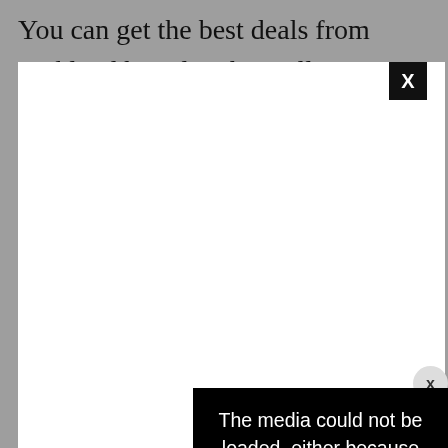You can get the best deals from Kirkland brands. This will save you more money. Interestingly, you can use
[Figure (other): White advertisement overlay box with black X close button in top-right corner, covering most of the page content]
[Figure (other): Circular grey X close button on the right side of the page]
[Figure (other): Black media error overlay with large faint X watermark and text reading: The media could not be loaded, either because the server or network failed or because the]
#18. Use Cost to Service
[Figure (other): BitLife - Life Simulator advertisement banner with Ad badge, colorful emoji and game art, and Install button]